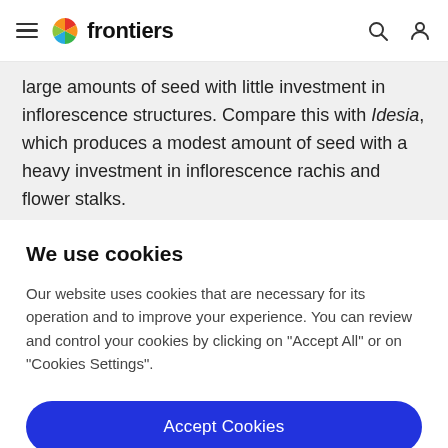frontiers
large amounts of seed with little investment in inflorescence structures. Compare this with Idesia, which produces a modest amount of seed with a heavy investment in inflorescence rachis and flower stalks.
We use cookies
Our website uses cookies that are necessary for its operation and to improve your experience. You can review and control your cookies by clicking on "Accept All" or on "Cookies Settings".
Accept Cookies
Cookies Settings